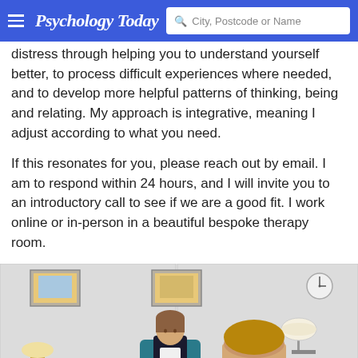Psychology Today | City, Postcode or Name
distress through helping you to understand yourself better, to process difficult experiences where needed, and to develop more helpful patterns of thinking, being and relating. My approach is integrative, meaning I adjust according to what you need.
If this resonates for you, please reach out by email. I am to respond within 24 hours, and I will invite you to an introductory call to see if we are a good fit. I work online or in-person in a beautiful bespoke therapy room.
[Figure (photo): A therapist seated in a teal chair in a bright, modern therapy room with framed artwork on the walls, a lamp, and a clock, speaking with a client whose back is to the camera.]